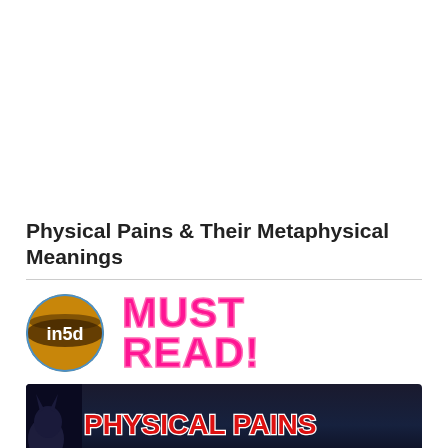[Figure (other): Large white empty space at the top of the page (advertisement placeholder area)]
Physical Pains & Their Metaphysical Meanings
[Figure (infographic): in5d logo circle (golden/orange sphere with black bands and 'in5d' text) on left, and large bold pink 'MUST READ!' text on right]
[Figure (illustration): Dark banner image with wolf silhouette on left and bold red outlined white text reading 'PHYSICAL PAINS']